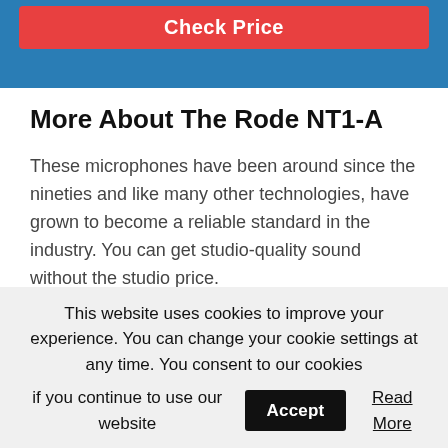[Figure (other): Red 'Check Price' button on a blue banner background at the top of the page]
More About The Rode NT1-A
These microphones have been around since the nineties and like many other technologies, have grown to become a reliable standard in the industry. You can get studio-quality sound without the studio price.
With its dynamic range, you can use this microphone for…
This website uses cookies to improve your experience. You can change your cookie settings at any time. You consent to our cookies if you continue to use our website